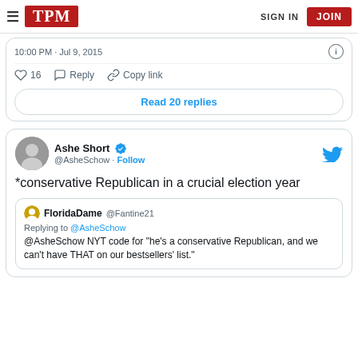TPM — SIGN IN   JOIN
10:00 PM · Jul 9, 2015
♡ 16   Reply   Copy link
Read 20 replies
Ashe Short @AsheSchow · Follow
*conservative Republican in a crucial election year
FloridaDame @Fantine21
Replying to @AsheSchow
@AsheSchow NYT code for "he's a conservative Republican, and we can't have THAT on our bestsellers' list."